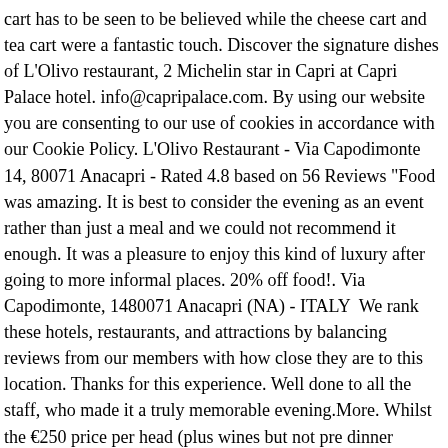cart has to be seen to be believed while the cheese cart and tea cart were a fantastic touch. Discover the signature dishes of L'Olivo restaurant, 2 Michelin star in Capri at Capri Palace hotel. info@capripalace.com. By using our website you are consenting to our use of cookies in accordance with our Cookie Policy. L'Olivo Restaurant - Via Capodimonte 14, 80071 Anacapri - Rated 4.8 based on 56 Reviews "Food was amazing. It is best to consider the evening as an event rather than just a meal and we could not recommend it enough. It was a pleasure to enjoy this kind of luxury after going to more informal places. 20% off food!. Via Capodimonte, 1480071 Anacapri (NA) - ITALY  We rank these hotels, restaurants, and attractions by balancing reviews from our members with how close they are to this location. Thanks for this experience. Well done to all the staff, who made it a truly memorable evening.More. Whilst the €250 price per head (plus wines but not pre dinner drinks) may make you draw breath, it is actually a reasonable price for such an experience. The views here are not the best in Capri (the Ceasar Augustus has those) but would be considered spectacular in any other location. Amazing